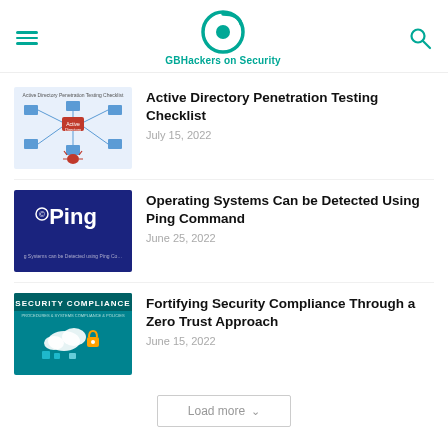GBHackers on Security
[Figure (screenshot): Thumbnail for Active Directory Penetration Testing Checklist article showing a network diagram with Active Directory nodes]
Active Directory Penetration Testing Checklist
July 15, 2022
[Figure (screenshot): Thumbnail showing 'Ping' text on dark blue background with subtitle 'Operating Systems can be Detected using Ping Command']
Operating Systems Can be Detected Using Ping Command
June 25, 2022
[Figure (screenshot): Thumbnail showing 'SECURITY COMPLIANCE' text on teal background with cloud and security icons]
Fortifying Security Compliance Through a Zero Trust Approach
June 15, 2022